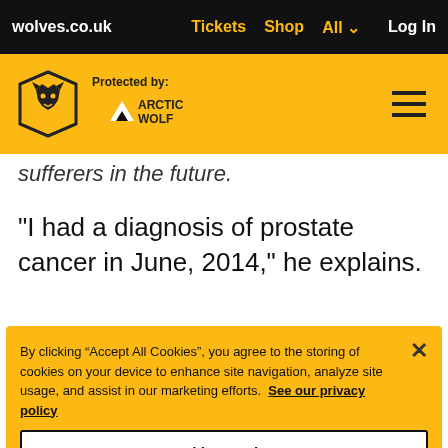wolves.co.uk  Tickets  Shop  All  Log In
[Figure (logo): Wolverhampton Wanderers wolf logo and Arctic Wolf protection logo on yellow band with hamburger menu]
sufferers in the future.
“I had a diagnosis of prostate cancer in June, 2014," he explains.
By clicking “Accept All Cookies”, you agree to the storing of cookies on your device to enhance site navigation, analyze site usage, and assist in our marketing efforts. See our privacy policy
Cookies Settings
Reject All
Accept All Cookies